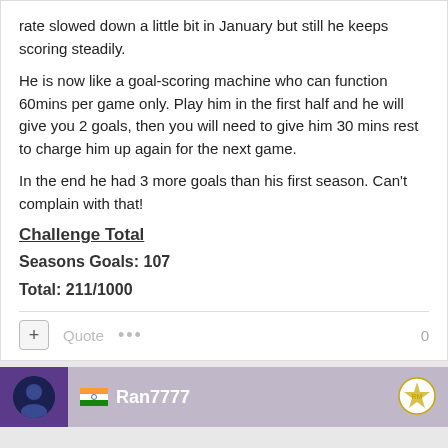rate slowed down a little bit in January but still he keeps scoring steadily.
He is now like a goal-scoring machine who can function 60mins per game only. Play him in the first half and he will give you 2 goals, then you will need to give him 30 mins rest to charge him up again for the next game.
In the end he had 3 more goals than his first season. Can't complain with that!
Challenge Total
Seasons Goals: 107
Total: 211/1000
Ran7777